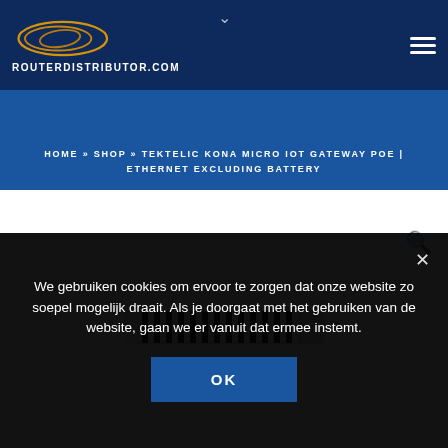[Figure (logo): RouterDistributor.com logo with golden oval shapes and white text]
HOME » SHOP » TEKTELIC KONA MICRO IOT GATEWAY POE | ETHERNET EXCLUDING BATTERY
[Figure (photo): Partial product image of Tektelic Kona Micro IoT Gateway showing ribbed top casing]
We gebruiken cookies om ervoor te zorgen dat onze website zo soepel mogelijk draait. Als je doorgaat met het gebruiken van de website, gaan we er vanuit dat ermee instemt.
OK